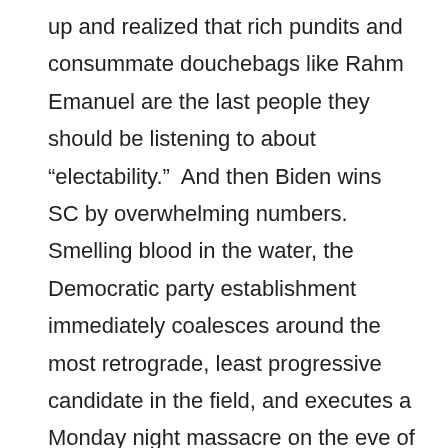up and realized that rich pundits and consummate douchebags like Rahm Emanuel are the last people they should be listening to about “electability.”  And then Biden wins SC by overwhelming numbers.  Smelling blood in the water, the Democratic party establishment immediately coalesces around the most retrograde, least progressive candidate in the field, and executes a Monday night massacre on the eve of Super Tuesday that is breathtaking in its efficiency.  And just like that, it’s over.  So, what do you think a group of voters who were only Democrats of convenience at the start of the